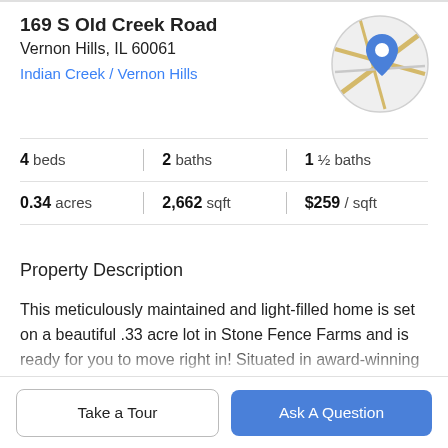169 S Old Creek Road
Vernon Hills, IL 60061
Indian Creek / Vernon Hills
[Figure (map): Circular map thumbnail with a blue location pin marker and tan/yellow road lines on light gray background]
| 4 beds | 2 baths | 1 ½ baths |
| 0.34 acres | 2,662 sqft | $259 / sqft |
Property Description
This meticulously maintained and light-filled home is set on a beautiful .33 acre lot in Stone Fence Farms and is ready for you to move right in! Situated in award-winning Lincolnshire School District 103 and Stevenson High School, this home on a quiet street offers a wonderful,